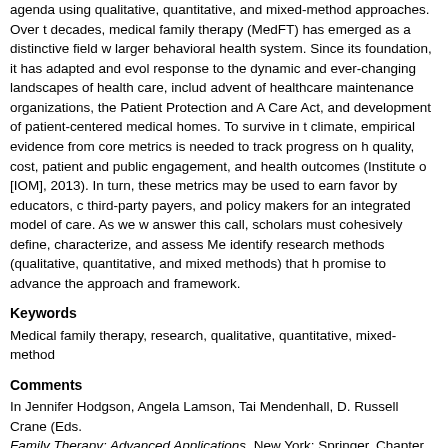agenda using qualitative, quantitative, and mixed-method approaches. Over the decades, medical family therapy (MedFT) has emerged as a distinctive field within the larger behavioral health system. Since its foundation, it has adapted and evolved in response to the dynamic and ever-changing landscapes of health care, including the advent of healthcare maintenance organizations, the Patient Protection and Affordable Care Act, and development of patient-centered medical homes. To survive in this climate, empirical evidence from core metrics is needed to track progress on health quality, cost, patient and public engagement, and health outcomes (Institute of Medicine [IOM], 2013). In turn, these metrics may be used to earn favor by educators, clinicians, third-party payers, and policy makers for an integrated model of care. As we work to answer this call, scholars must cohesively define, characterize, and assess MedFT, and identify research methods (qualitative, quantitative, and mixed methods) that hold promise to advance the approach and framework.
Keywords
Medical family therapy, research, qualitative, quantitative, mixed-method
Comments
In Jennifer Hodgson, Angela Lamson, Tai Mendenhall, D. Russell Crane (Eds.), Medical Family Therapy: Advanced Applications. New York: Springer. Chapter 13, pp.
Recommended Citation
Mendenhall, Tai; Pratt, Keely; Phelps, Kenneth; Baird, Macaran; and Younkin, Felisha, "Advancing Medical Family Therapy Through Qualitative, Quantitative, and Mixed-Method Research" (2014). Psychology Faculty Publications. 193. https://digitalcommons.cedarville.edu/psychology_publications/193
Find this in our library: